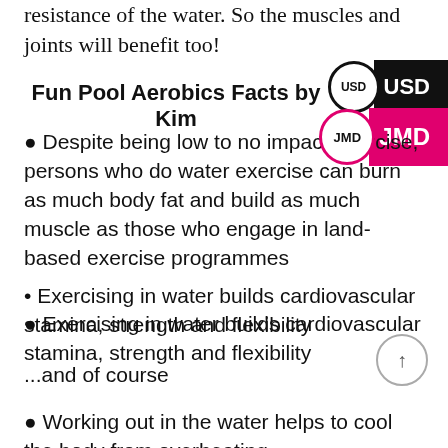resistance of the water. So the muscles and joints will benefit too!
Fun Pool Aerobics Facts by Kim
Despite being low to no impact exercise, persons who do water exercise can burn as much body fat and build as much muscle as those who engage in land-based exercise programmes
Exercising in water builds cardiovascular stamina, strength and flexibility
Pool aerobics burns fat, increases circulation and can help rehabilitate healing muscles and joints
...and of course
Working out in the water helps to cool the body from overheating